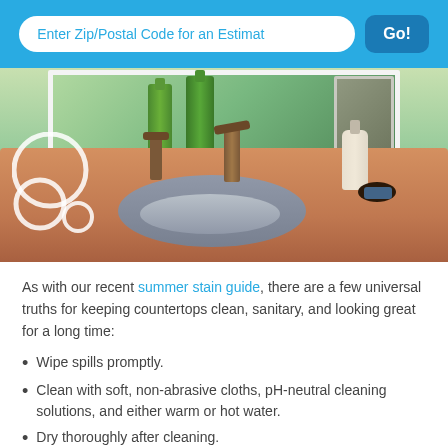Enter Zip/Postal Code for an Estimat  Go!
[Figure (photo): Kitchen countertop with marble surface, stainless steel sink, bronze faucets, green glass bottles on windowsill, soap dispenser, and decorative circles overlay]
As with our recent summer stain guide, there are a few universal truths for keeping countertops clean, sanitary, and looking great for a long time:
Wipe spills promptly.
Clean with soft, non-abrasive cloths, pH-neutral cleaning solutions, and either warm or hot water.
Dry thoroughly after cleaning.